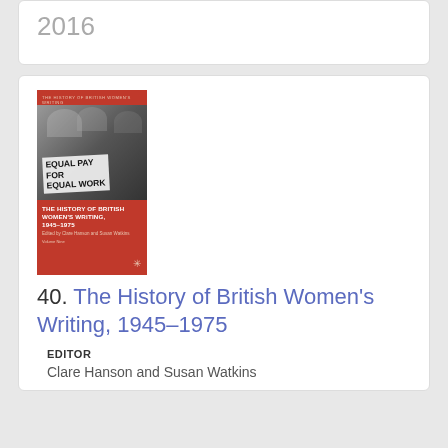2016
[Figure (photo): Book cover of 'The History of British Women's Writing, 1945-1975' with a black and white protest photo showing a sign reading 'Equal Pay for Equal Work', red background with white title text]
40. The History of British Women's Writing, 1945–1975
EDITOR
Clare Hanson and Susan Watkins